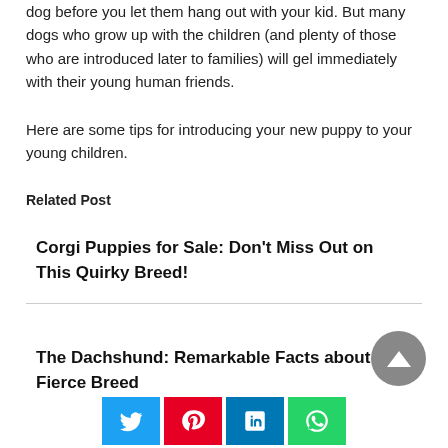dog before you let them hang out with your kid. But many dogs who grow up with the children (and plenty of those who are introduced later to families) will gel immediately with their young human friends.
Here are some tips for introducing your new puppy to your young children.
Related Post
Corgi Puppies for Sale: Don’t Miss Out on This Quirky Breed!
The Dachshund: Remarkable Facts about this Fierce Breed